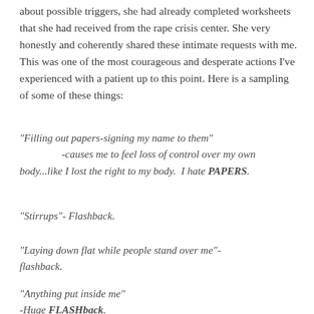about possible triggers, she had already completed worksheets that she had received from the rape crisis center. She very honestly and coherently shared these intimate requests with me. This was one of the most courageous and desperate actions I've experienced with a patient up to this point. Here is a sampling of some of these things:
"Filling out papers-signing my name to them" -causes me to feel loss of control over my own body...like I lost the right to my body. I hate PAPERS.
"Stirrups"- Flashback.
"Laying down flat while people stand over me"- flashback.
"Anything put inside me" -Huge FLASHback.